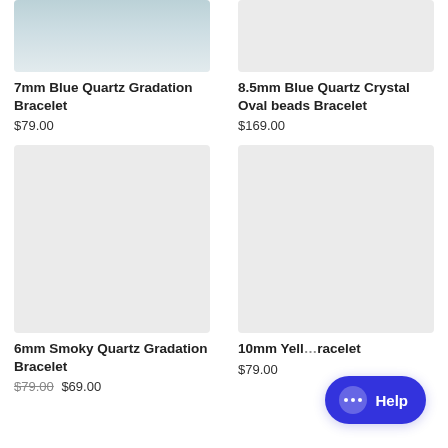[Figure (photo): Top portion of a blue quartz gradation bracelet with blue-teal strands and beads visible at top]
7mm Blue Quartz Gradation Bracelet
$79.00
[Figure (photo): Light gray placeholder image for 8.5mm Blue Quartz Crystal Oval beads Bracelet]
8.5mm Blue Quartz Crystal Oval beads Bracelet
$169.00
[Figure (photo): Light gray placeholder image for 6mm Smoky Quartz Gradation Bracelet]
6mm Smoky Quartz Gradation Bracelet
$79.00 $69.00
[Figure (photo): Light gray placeholder image for 10mm Yellow bracelet]
10mm Yell... racelet
$79.00